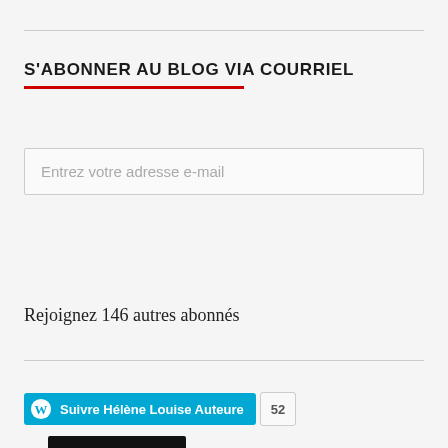S'ABONNER AU BLOG VIA COURRIEL
Entrez votre adresse e-mail
SUIVRE
Rejoignez 146 autres abonnés
Suivre Hélène Louise Auteure 52